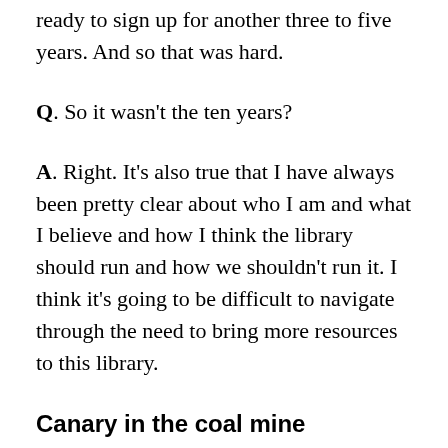ready to sign up for another three to five years. And so that was hard.
Q. So it wasn't the ten years?
A. Right. It's also true that I have always been pretty clear about who I am and what I believe and how I think the library should run and how we shouldn't run it. I think it's going to be difficult to navigate through the need to bring more resources to this library.
Canary in the coal mine
Q. You suggested something similar in your